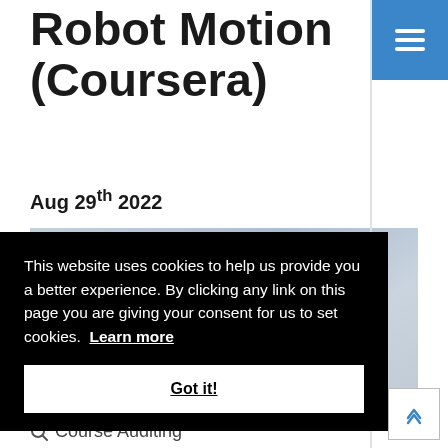Robot Motion (Coursera)
Aug 29th 2022
[Figure (screenshot): Screenshot of a webpage showing a Northwestern University logo (large purple N) on a grey background, partially visible behind a cookie consent banner.]
This website uses cookies to help us provide you a better experience. By clicking any link on this page you are giving your consent for us to set cookies. Learn more
Got it!
Course Auditing